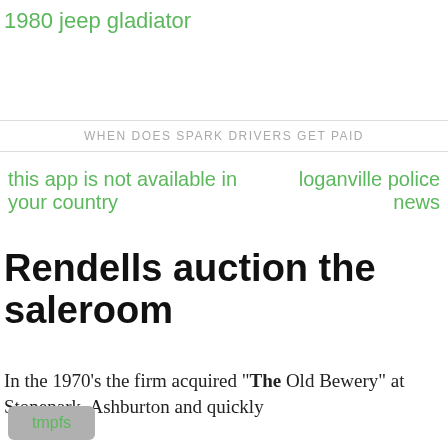1980 jeep gladiator
WHEN DOES SPARK DRIVERS GET PAID
this app is not available in your country
loganville police news
Rendells auction the saleroom
In the 1970's the firm acquired "The Old Bewery" at Stonepark, Ashburton and quickly
tmpfs